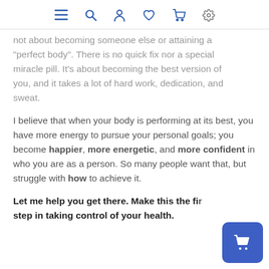Navigation bar with menu, search, profile, wishlist, cart, and settings icons
...not about becoming someone else or attaining a "perfect body". There is no quick fix nor a special miracle pill. It's about becoming the best version of you, and it takes a lot of hard work, dedication, and sweat.
I believe that when your body is performing at its best, you have more energy to pursue your personal goals; you become happier, more energetic, and more confident in who you are as a person. So many people want that, but struggle with how to achieve it.
Let me help you get there. Make this the first step in taking control of your health.